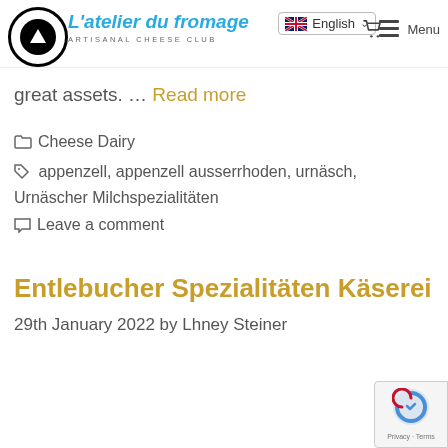L'atelier du fromage — ARTISANAL CHEESE CLUB | English | Menu
great assets. … Read more
Cheese Dairy
appenzell, appenzell ausserrhoden, urnäsch, Urnäscher Milchspezialitäten
Leave a comment
Entlebucher Spezialitäten Käserei
29th January 2022 by Lhney Steiner